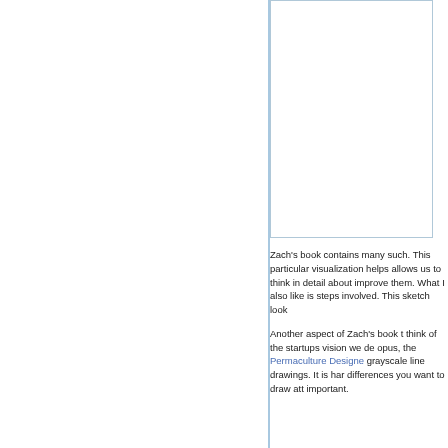[Figure (other): Partial image/illustration visible in the top-right area of the page, cut off at the right edge — appears to be a blank or lightly bordered rectangular image placeholder.]
Zach's book contains many such. This particular visualization helps allows us to think in detail about improve them. What I also like is steps involved. This sketch look
Another aspect of Zach's book t think of the startups vision we de opus, the Permaculture Designe grayscale line drawings. It is har differences you want to draw att important.